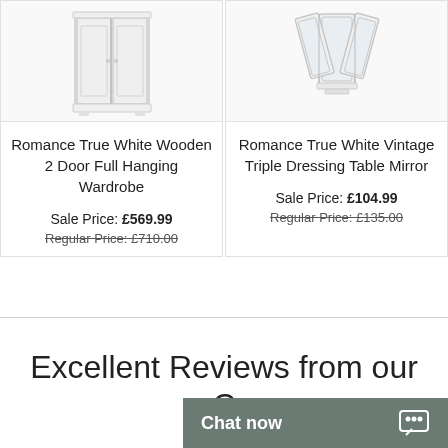[Figure (photo): White wooden 2 door full hanging wardrobe product photo on white background]
[Figure (photo): White vintage triple dressing table mirror product photo on white background]
Romance True White Wooden 2 Door Full Hanging Wardrobe
Sale Price: £569.99
Regular Price: £710.00
Romance True White Vintage Triple Dressing Table Mirror
Sale Price: £104.99
Regular Price: £135.00
Excellent Reviews from our C...
Chat now